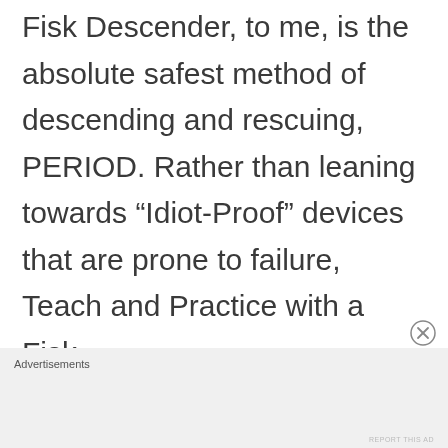Fisk Descender, to me, is the absolute safest method of descending and rescuing, PERIOD. Rather than leaning towards “Idiot-Proof” devices that are prone to failure, Teach and Practice with a Fisk.
Advertisements